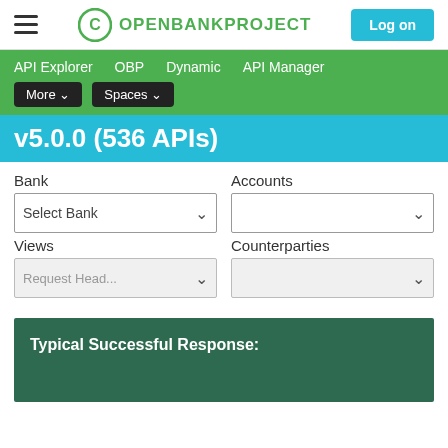OPENBANKPROJECT  Log on
API Explorer  OBP  Dynamic  API Manager  More  Spaces
v5.0.0 (536 APIs)
Bank
Select Bank
Accounts
Views
Counterparties
Request Head...
Typical Successful Response: